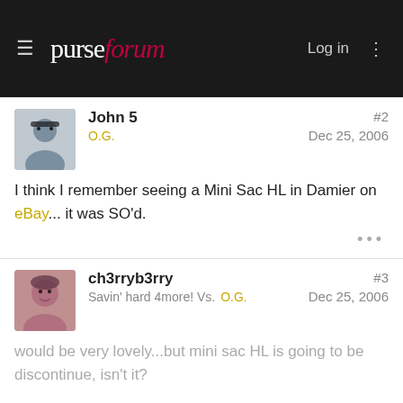purseforum — Log in
John 5 | O.G. | #2 | Dec 25, 2006
I think I remember seeing a Mini Sac HL in Damier on eBay... it was SO'd.
ch3rryb3rry | Savin' hard 4more! Vs. O.G. | #3 | Dec 25, 2006
would be very lovely...but mini sac HL is going to be discontinue, isn't it?